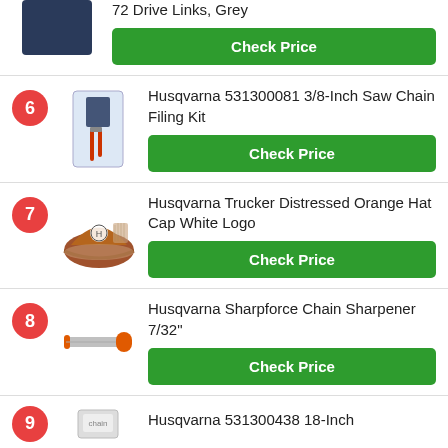72 Drive Links, Grey
Check Price
Husqvarna 531300081 3/8-Inch Saw Chain Filing Kit
Check Price
Husqvarna Trucker Distressed Orange Hat Cap White Logo
Check Price
Husqvarna Sharpforce Chain Sharpener 7/32"
Check Price
Husqvarna 531300438 18-Inch